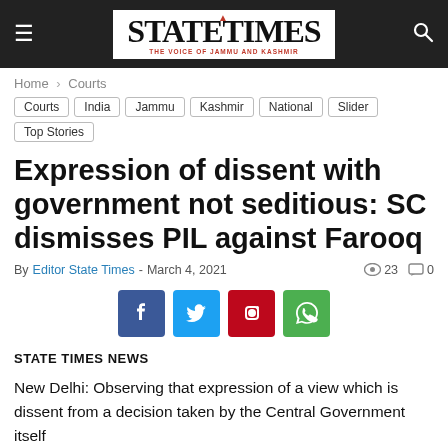STATE TIMES — THE VOICE OF JAMMU AND KASHMIR
Home › Courts
Courts | India | Jammu | Kashmir | National | Slider | Top Stories
Expression of dissent with government not seditious: SC dismisses PIL against Farooq
By Editor State Times - March 4, 2021  👁 23  💬 0
[Figure (infographic): Social share buttons: Facebook, Twitter, Pinterest, WhatsApp]
STATE TIMES NEWS
New Delhi: Observing that expression of a view which is dissent from a decision taken by the Central Government itself